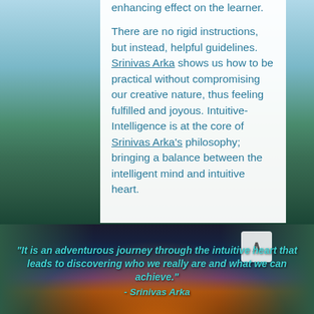[Figure (photo): Mountain and lake landscape photo in the background — top half shows mountains with lake/river, bottom portion shows volcanic mountains at sunset with warm orange tones.]
enhancing effect on the learner.

There are no rigid instructions, but instead, helpful guidelines. Srinivas Arka shows us how to be practical without compromising our creative nature, thus feeling fulfilled and joyous. Intuitive-Intelligence is at the core of Srinivas Arka's philosophy; bringing a balance between the intelligent mind and intuitive heart.
"It is an adventurous journey through the intuitive heart that leads to discovering who we really are and what we can achieve."
- Srinivas Arka